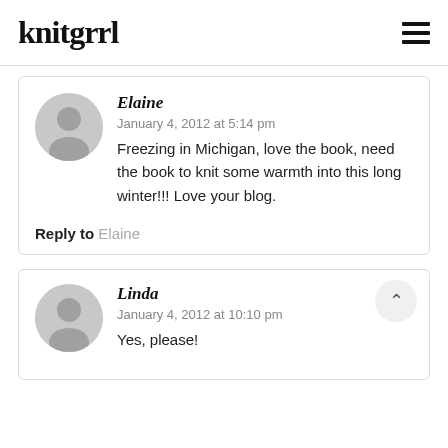knitgrrl
Elaine
January 4, 2012 at 5:14 pm
Freezing in Michigan, love the book, need the book to knit some warmth into this long winter!!! Love your blog.
Reply to Elaine
Linda
January 4, 2012 at 10:10 pm
Yes, please!